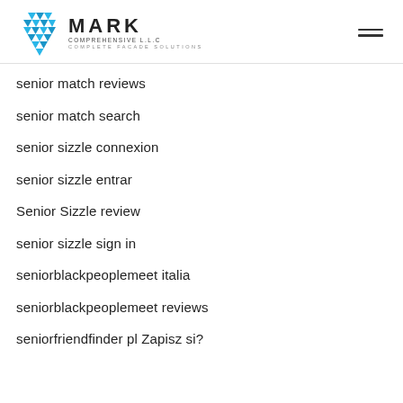MARK COMPREHENSIVE L.L.C COMPLETE FACADE SOLUTIONS
senior match reviews
senior match search
senior sizzle connexion
senior sizzle entrar
Senior Sizzle review
senior sizzle sign in
seniorblackpeoplemeet italia
seniorblackpeoplemeet reviews
seniorfriendfinder pl Zapisz si?